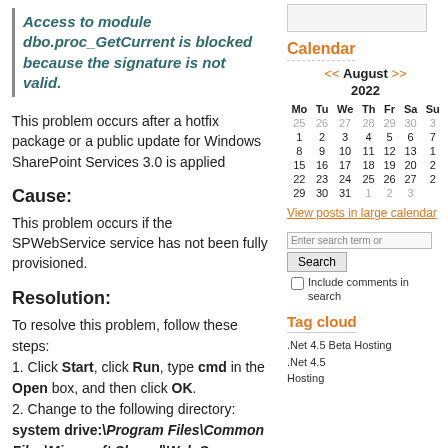Access to module dbo.proc_GetCurrent is blocked because the signature is not valid.
This problem occurs after a hotfix package or a public update for Windows SharePoint Services 3.0 is applied
Cause:
This problem occurs if the SPWebService service has not been fully provisioned.
Resolution:
To resolve this problem, follow these steps:
1. Click Start, click Run, type cmd in the Open box, and then click OK.
2. Change to the following directory: system drive:\Program Files\Common Files\Microsoft Shared\Web Server
[Figure (other): Search input box (top of sidebar)]
Calendar
<< August >> 2022 calendar with dates 25-31 (prev month), 1-31 (August), 1-3 (next month)
View posts in large calendar
Enter search term or Search / Include comments in search
Tag cloud
.Net 4.5 Beta Hosting
.Net 4.5 Hosting